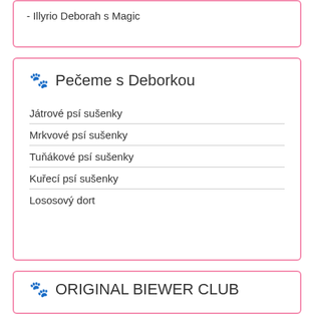- Illyrio Deborah s Magic
🐾 Pečeme s Deborkou
Játrové psí sušenky
Mrkvové psí sušenky
Tuňákové psí sušenky
Kuřecí psí sušenky
Lososový dort
🐾 ORIGINAL BIEWER CLUB